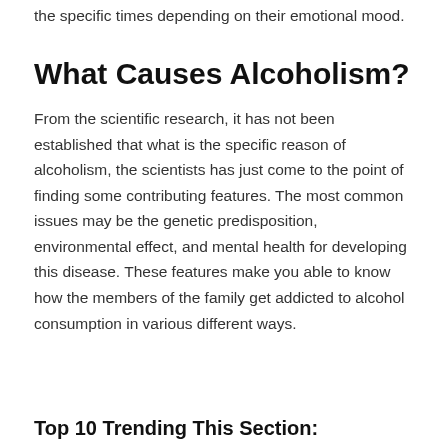the specific times depending on their emotional mood.
What Causes Alcoholism?
From the scientific research, it has not been established that what is the specific reason of alcoholism, the scientists has just come to the point of finding some contributing features. The most common issues may be the genetic predisposition, environmental effect, and mental health for developing this disease. These features make you able to know how the members of the family get addicted to alcohol consumption in various different ways.
Top 10 Trending This Section: